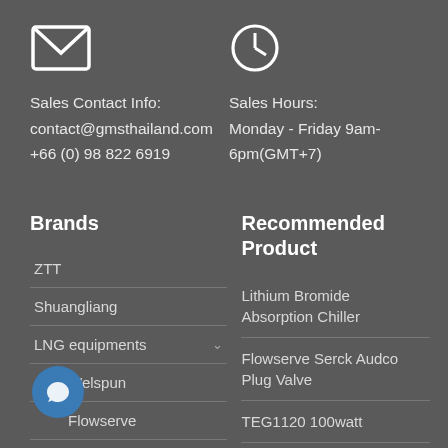[Figure (illustration): Envelope icon (mail symbol) in white outline]
Sales Contact Info:
contact@gmsthailand.com
+66 (0) 98 822 6919
[Figure (illustration): Clock icon in white outline]
Sales Hours:
Monday - Friday 9am-6pm(GMT+7)
Brands
Recommended Product
ZTT
Lithium Bromide Absorption Chiller
Shuangliang
Flowserve Serck Audco Plug Valve
LNG equipments
TEG1120 100watt
Welspun
Flowserve